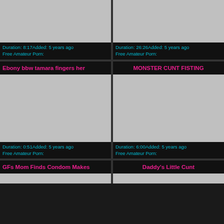[Figure (photo): Video thumbnail placeholder top-left]
Duration: 8:17Added: 5 years ago
Free Amateur Porn:
[Figure (photo): Video thumbnail placeholder top-right]
Duration: 26:26Added: 5 years ago
Free Amateur Porn:
Ebony bbw tamara fingers her
MONSTER CUNT FISTING
[Figure (photo): Video thumbnail placeholder middle-left]
Duration: 0:51Added: 5 years ago
Free Amateur Porn:
[Figure (photo): Video thumbnail placeholder middle-right]
Duration: 6:00Added: 5 years ago
Free Amateur Porn:
GFs Mom Finds Condom Makes
Daddy's Little Cunt